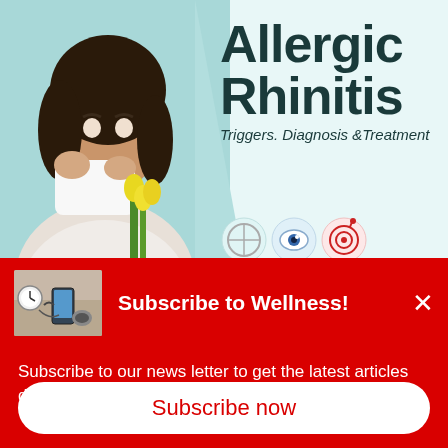[Figure (photo): Woman blowing her nose into a tissue while holding a bouquet of yellow tulips, light teal background]
Allergic Rhinitis
Triggers. Diagnosis &Treatment
[Figure (illustration): Medical icons row: anatomy circle, eye icon, target/goal icon]
[Figure (photo): Thumbnail showing health/wellness items on a desk including a phone and medical devices]
Subscribe to Wellness!
Subscribe to our news letter to get the latest articles delivered to you!
Subscribe now